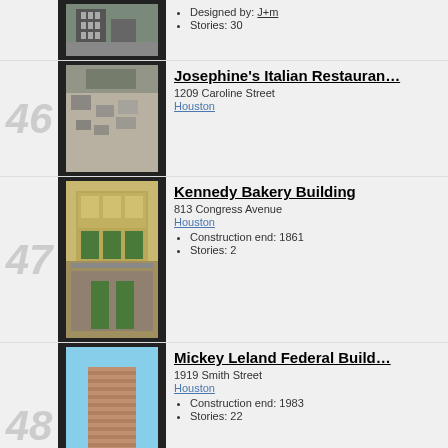[Figure (photo): Partial top entry photo of a building, cropped]
Designed by: J+m
Stories: 30
Josephine's Italian Restaurant
1209 Caroline Street
Houston
[Figure (photo): Aerial view of Josephine's Italian Restaurant parking area]
Kennedy Bakery Building
813 Congress Avenue
Houston
Construction end: 1861
Stories: 2
[Figure (photo): Photo of Kennedy Bakery Building historic facade]
Mickey Leland Federal Building
1919 Smith Street
Houston
Construction end: 1983
Stories: 22
[Figure (photo): Photo of Mickey Leland Federal Building modern tower]
Main Street Square
Main Street
[Figure (photo): Partial photo of Main Street Square building]